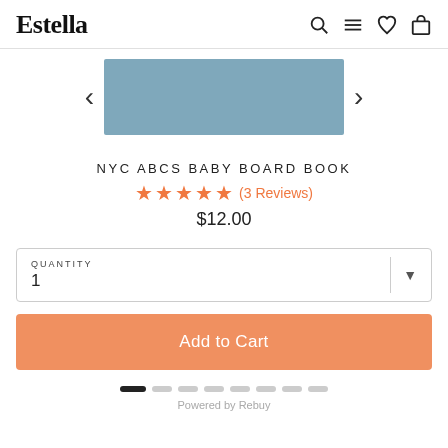Estella
[Figure (photo): Product image of NYC ABCs Baby Board Book showing a blue cover, with left and right navigation arrows on either side]
NYC ABCS BABY BOARD BOOK
★★★★★ (3 Reviews)
$12.00
QUANTITY 1
Add to Cart
Powered by Rebuy